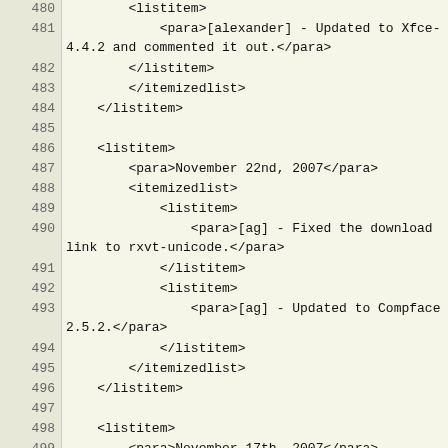480  <listitem>
481      <para>[alexander] - Updated to Xfce-4.4.2 and commented it out.</para>
482          </listitem>
483          </itemizedlist>
484      </listitem>
485
486      <listitem>
487          <para>November 22nd, 2007</para>
488          <itemizedlist>
489              <listitem>
490                  <para>[ag] - Fixed the download link to rxvt-unicode.</para>
491              </listitem>
492              <listitem>
493                  <para>[ag] - Updated to Compface 2.5.2.</para>
494              </listitem>
495          </itemizedlist>
496      </listitem>
497
498      <listitem>
499          <para>November 17th, 2007</para>
500          <itemizedlist>